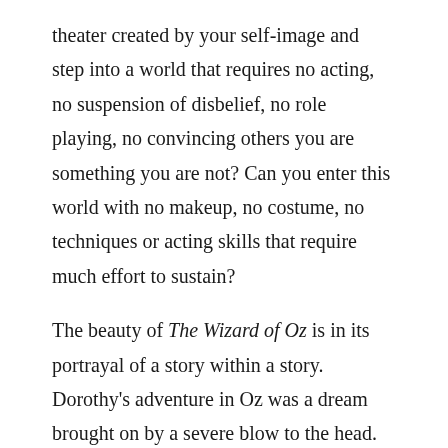theater created by your self-image and step into a world that requires no acting, no suspension of disbelief, no role playing, no convincing others you are something you are not? Can you enter this world with no makeup, no costume, no techniques or acting skills that require much effort to sustain?
The beauty of The Wizard of Oz is in its portrayal of a story within a story. Dorothy's adventure in Oz was a dream brought on by a severe blow to the head. In truth, she never left her home. She became the actor fraught with the problems of a world that did not exist. In this sense we can think of the Dorothy who resided in Kansas as the soul. The Dorothy who found herself in Oz is the self-image. The remedy to all her Oz-based problems was not found following the yellow brick